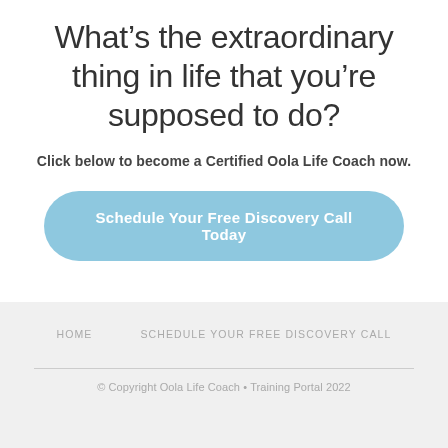What’s the extraordinary thing in life that you’re supposed to do?
Click below to become a Certified Oola Life Coach now.
[Figure (other): CTA button with text: Schedule Your Free Discovery Call Today]
HOME    SCHEDULE YOUR FREE DISCOVERY CALL
© Copyright Oola Life Coach • Training Portal 2022